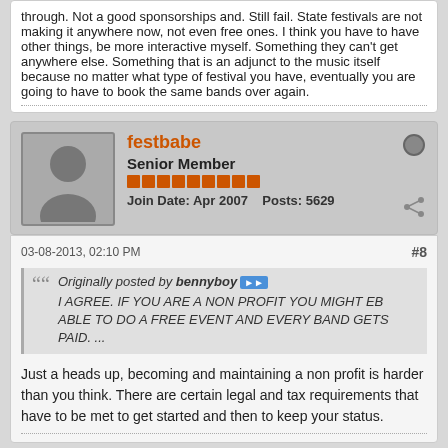through. Not a good sponsorships and. Still fail. State festivals are not making it anywhere now, not even free ones. I think you have to have other things, be more interactive myself. Something they can't get anywhere else. Something that is an adjunct to the music itself because no matter what type of festival you have, eventually you are going to have to book the same bands over again.
festbabe
Senior Member
Join Date: Apr 2007    Posts: 5629
03-08-2013, 02:10 PM
#8
Originally posted by bennyboy
I AGREE. IF YOU ARE A NON PROFIT YOU MIGHT EB ABLE TO DO A FREE EVENT AND EVERY BAND GETS PAID. ...
Just a heads up, becoming and maintaining a non profit is harder than you think. There are certain legal and tax requirements that have to be met to get started and then to keep your status.